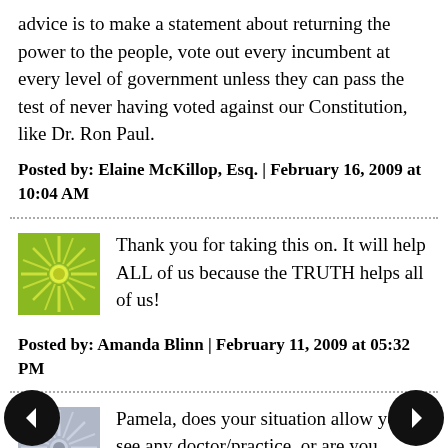advice is to make a statement about returning the power to the people, vote out every incumbent at every level of government unless they can pass the test of never having voted against our Constitution, like Dr. Ron Paul.
Posted by: Elaine McKillop, Esq. | February 16, 2009 at 10:04 AM
[Figure (illustration): Green starburst/sun avatar icon]
Thank you for taking this on. It will help ALL of us because the TRUTH helps all of us!
Posted by: Amanda Blinn | February 11, 2009 at 05:32 PM
[Figure (illustration): Blue/grey starburst avatar icon]
Pamela, does your situation allow you to see any doctor/practice, or are you